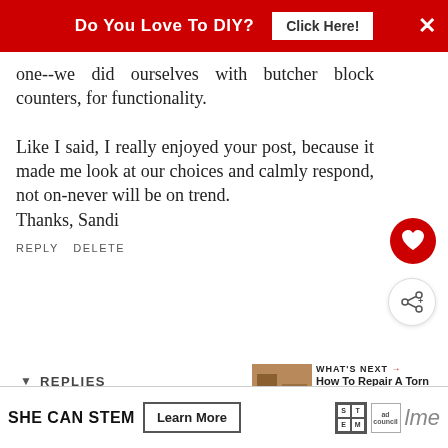Do You Love To DIY? Click Here! ×
one--we did ourselves with butcher block counters, for functionality.

Like I said, I really enjoyed your post, because it made me look at our choices and calmly respond, not on- never will be on trend.
Thanks, Sandi
REPLY DELETE
▼ REPLIES
Kim
FEBRUARY 28, 2017 AT 7:55 PM
[Figure (infographic): Bottom advertisement banner: SHE CAN STEM Learn More with STEM and Ad Council logos]